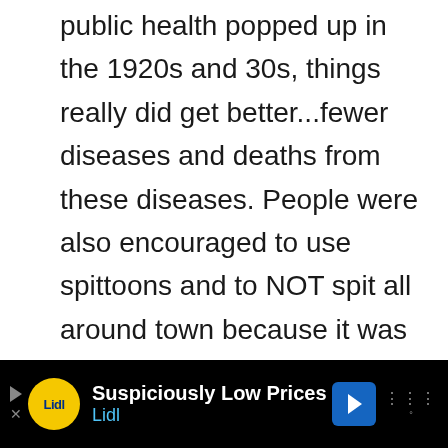public health popped up in the 1920s and 30s, things really did get better...fewer diseases and deaths from these diseases. People were also encouraged to use spittoons and to NOT spit all around town because it was a public health issue. I still remember an old teacher I had in 7th grade who freaked out when a boy spit on the
[Figure (other): Advertisement banner for Lidl grocery store. Black background with Lidl logo (yellow circle with blue text), text 'Suspiciously Low Prices' in white and 'Lidl' in blue, blue navigation arrow icon, and navigation dots icon.]